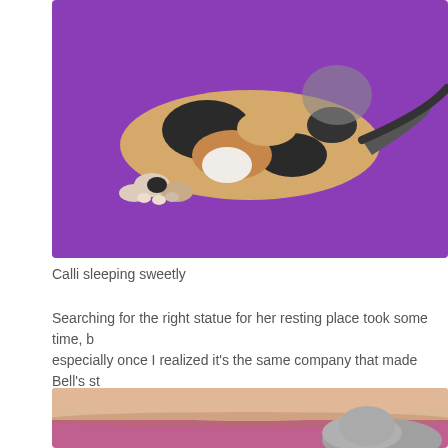[Figure (photo): A calico cat lying on its side on a purple background, viewed from above, showing its paws and tail.]
Calli sleeping sweetly
Searching for the right statue for her resting place took some time, but especially once I realized it's the same company that made Bell's st box, with a very kind thank-you note from the company.
[Figure (photo): A person's arm resting on a pink/purple blanket next to what appears to be a gray cat curled up sleeping.]